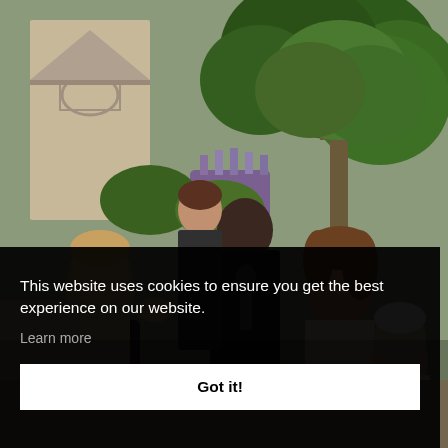[Figure (photo): Outdoor gathering scene with several people, including women greeting or talking, one holding a microphone. Background shows lush green trees, purple flowering plants, a building facade. An older man is visible in the background on the right. Part of a woman's blonde hair is visible at the bottom right corner.]
This website uses cookies to ensure you get the best experience on our website.
Learn more
Got it!